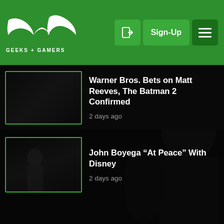GEEKS + GAMERS — Sign-Up
Warner Bros. Bets on Matt Reeves, The Batman 2 Confirmed
2 days ago
John Boyega “At Peace” With Disney
2 days ago